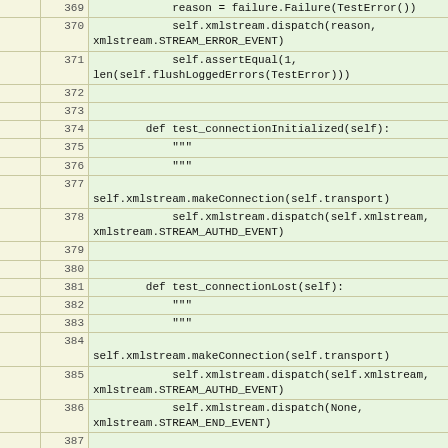[Figure (screenshot): Source code listing showing Python test methods with line numbers 369-393. Lines include test_connectionInitialized, test_connectionLost, and test_Element methods with xmlstream calls.]